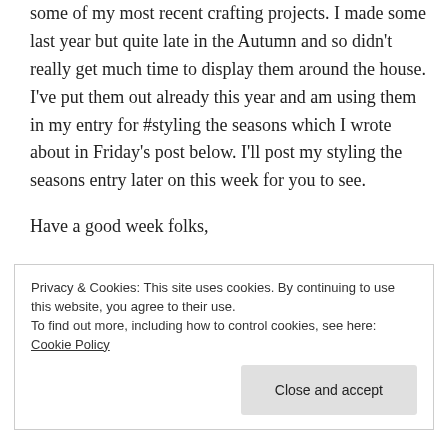some of my most recent crafting projects. I made some last year but quite late in the Autumn and so didn't really get much time to display them around the house. I've put them out already this year and am using them in my entry for #styling the seasons which I wrote about in Friday's post below. I'll post my styling the seasons entry later on this week for you to see.
Have a good week folks,
C. x
Privacy & Cookies: This site uses cookies. By continuing to use this website, you agree to their use. To find out more, including how to control cookies, see here: Cookie Policy